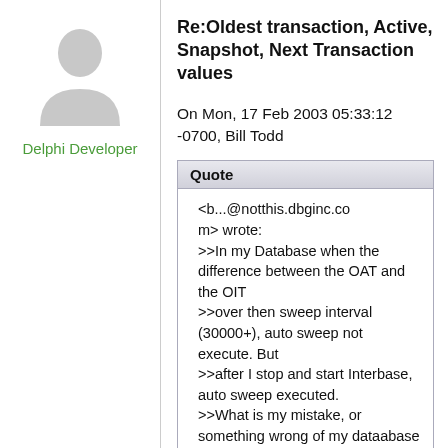[Figure (illustration): Generic user avatar silhouette in gray]
Delphi Developer
Re:Oldest transaction, Active, Snapshot, Next Transaction values
On Mon, 17 Feb 2003 05:33:12 -0700, Bill Todd
Quote
<b...@notthis.dbginc.com> wrote:
>>In my Database when the difference between the OAT and the OIT
>>over then sweep interval (30000+), auto sweep not execute. But
>>after I stop and start Interbase,  auto sweep executed.
>>What is my mistake, or something wrong of my dataabase ?.
>Use IBConsole or gstat -h to display the header statistics for the database. What is the